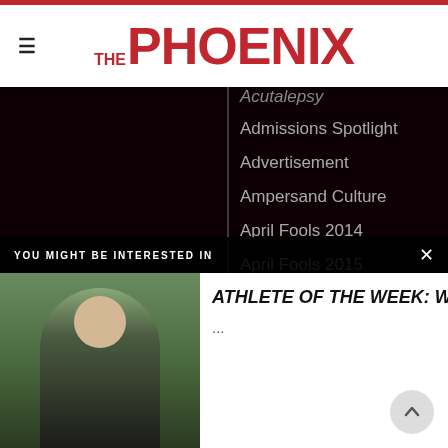THE PHOENIX
Acutalepsy
Admissions Spotlight
Advertisement
Ampersand Culture
April Fools 2014
April Fools 2015
April Fools 2016
April Fools 2017
...d Campus
...d Campus
Around Higher Education
YOU MIGHT BE INTERESTED IN
[Figure (photo): Photo of a young man outdoors, wearing a dark hoodie, smiling]
ATHLETE OF THE WEEK: WESLEY FISHBURN '17
...